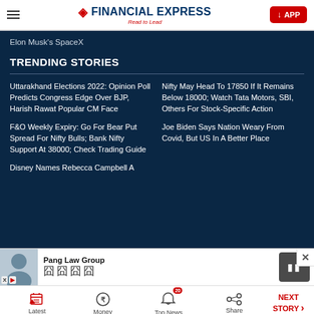FINANCIAL EXPRESS — Read to Lead
Elon Musk's SpaceX
TRENDING STORIES
Uttarakhand Elections 2022: Opinion Poll Predicts Congress Edge Over BJP, Harish Rawat Popular CM Face
Nifty May Head To 17850 If It Remains Below 18000; Watch Tata Motors, SBI, Others For Stock-Specific Action
F&O Weekly Expiry: Go For Bear Put Spread For Nifty Bulls; Bank Nifty Support At 38000; Check Trading Guide
Joe Biden Says Nation Weary From Covid, But US In A Better Place
Disney Names Rebecca Campbell A
[Figure (screenshot): Advertisement banner for Pang Law Group with photo of person and Chinese characters]
Latest | Money | Top News (20) | Share | NEXT STORY